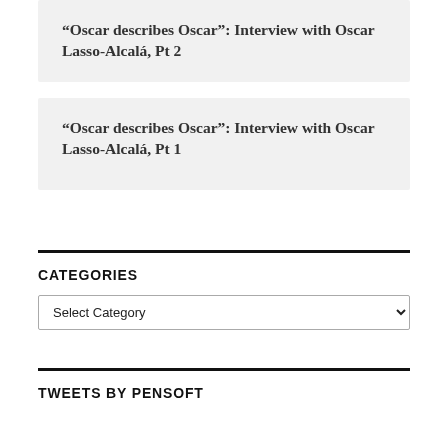“Oscar describes Oscar”: Interview with Oscar Lasso-Alcalá, Pt 2
“Oscar describes Oscar”: Interview with Oscar Lasso-Alcalá, Pt 1
CATEGORIES
Select Category
TWEETS BY PENSOFT